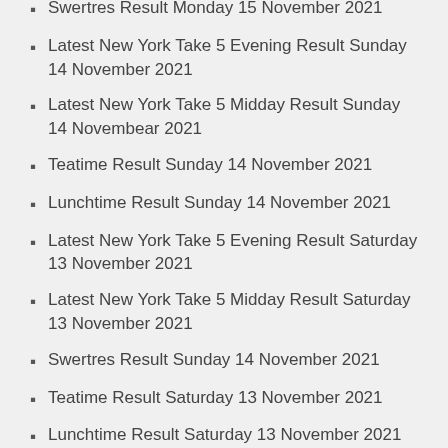Swertres Result Monday 15 November 2021
Latest New York Take 5 Evening Result Sunday 14 November 2021
Latest New York Take 5 Midday Result Sunday 14 Novembear 2021
Teatime Result Sunday 14 November 2021
Lunchtime Result Sunday 14 November 2021
Latest New York Take 5 Evening Result Saturday 13 November 2021
Latest New York Take 5 Midday Result Saturday 13 November 2021
Swertres Result Sunday 14 November 2021
Teatime Result Saturday 13 November 2021
Lunchtime Result Saturday 13 November 2021